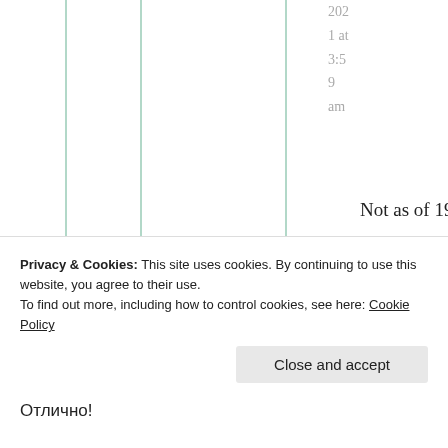2021 at 3:59 am
Not as of 1982.
★ Liked by 1 person
Privacy & Cookies: This site uses cookies. By continuing to use this website, you agree to their use. To find out more, including how to control cookies, see here: Cookie Policy
Close and accept
Отлично!